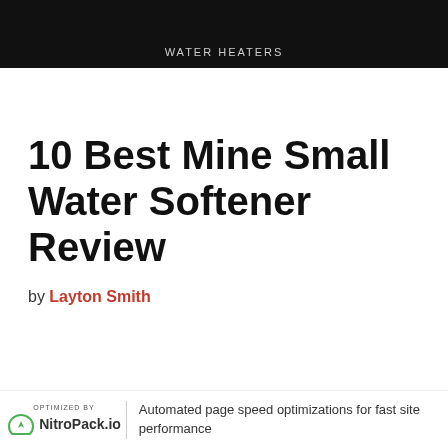WATER HEATERS
10 Best Mine Small Water Softener Review
by Layton Smith
Automated page speed optimizations for fast site performance